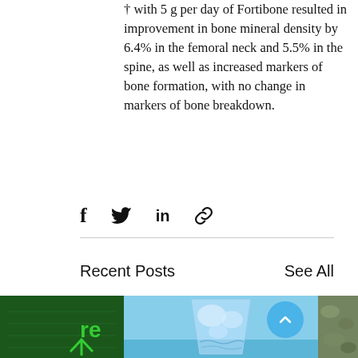† with 5 g per day of Fortibone resulted in improvement in bone mineral density by 6.4% in the femoral neck and 5.5% in the spine, as well as increased markers of bone formation, with no change in markers of bone breakdown.
[Figure (infographic): Social sharing icons: Facebook (f), Twitter bird, LinkedIn (in), and a link/chain icon]
Recent Posts
See All
[Figure (photo): Left partial image showing green background with text 're' and an upward arrow icon]
[Figure (photo): Center image of a glass of iced water with blue sky background]
[Figure (photo): Right partial image showing a rocky or mossy surface]